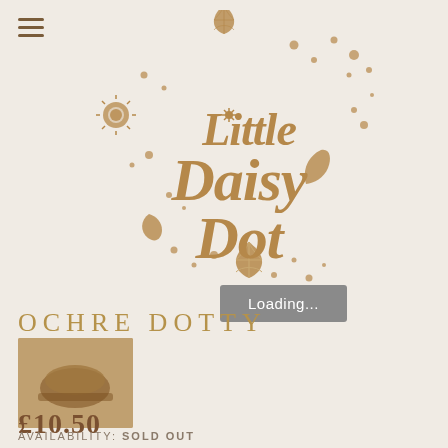[Figure (logo): Little Daisy Dot logo with decorative elements including sun, moon, stars, shells, and dots in brown/gold tones on a cream background]
Loading...
OCHRE DOTTY
[Figure (photo): Small product thumbnail showing ochre/brown ceramic or wooden dotty item]
£10.50
AVAILABILITY: SOLD OUT